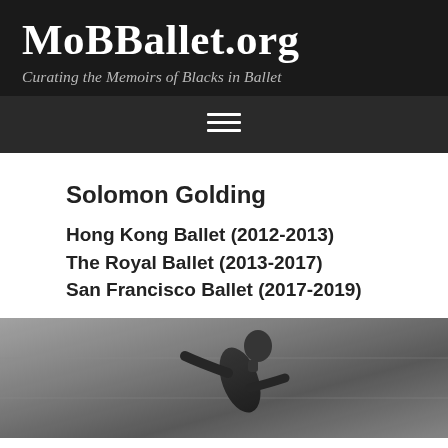MoBBallet.org
Curating the Memoirs of Blacks in Ballet
Solomon Golding
Hong Kong Ballet (2012-2013)
The Royal Ballet (2013-2017)
San Francisco Ballet (2017-2019)
[Figure (photo): Black and white photograph of Solomon Golding, a ballet dancer, leaning forward and looking upward, wearing a dark sleeveless top]